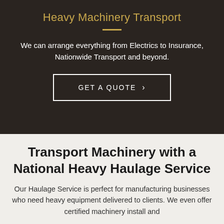Heavy Machinery Transport
We can arrange everything from Electrics to Insurance, Nationwide Transport and beyond.
GET A QUOTE  >
Transport Machinery with a National Heavy Haulage Service
Our Haulage Service is perfect for manufacturing businesses who need heavy equipment delivered to clients. We even offer certified machinery install and